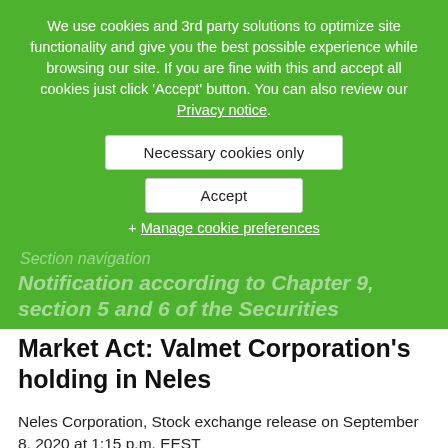We use cookies and 3rd party solutions to optimize site functionality and give you the best possible experience while browsing our site. If you are fine with this and accept all cookies just click 'Accept' button. You can also review our Privacy notice.
Necessary cookies only
Accept
+ Manage cookie preferences
Section navigation [hidden]
Notification according to Chapter 9, section 5 and 6 of the Securities Market Act: Valmet Corporation's holding in Neles
Neles Corporation, Stock exchange release on September 8, 2020 at 1:15 p.m. EEST
Neles Corporation has received a notification, pursuant to Chapter 9, Section 5 and 6 of the Finnish Securities Markets Act, about a change in the holding of Valmet Corporation total number of shares